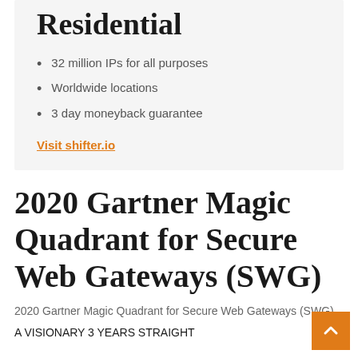Residential
32 million IPs for all purposes
Worldwide locations
3 day moneyback guarantee
Visit shifter.io
2020 Gartner Magic Quadrant for Secure Web Gateways (SWG)
2020 Gartner Magic Quadrant for Secure Web Gateways (SWG)
A VISIONARY 3 YEARS STRAIGHT